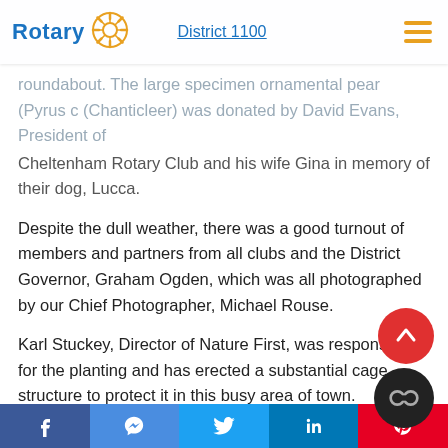Rotary | District 1100
roundabout. The large specimen ornamental pear (Pyrus calleryana Chanticleer) was donated by David Evans, President of Cheltenham Rotary Club and his wife Gina in memory of their dog, Lucca.
Despite the dull weather, there was a good turnout of members and partners from all clubs and the District Governor, Graham Ogden, which was all photographed by our Chief Photographer, Michael Rouse.
Karl Stuckey, Director of Nature First, was responsible for the planting and has erected a substantial cage structure to protect it in this busy area of town.
Tree Planting to mark 50th anniversary of
f  [messenger]  t  in  p